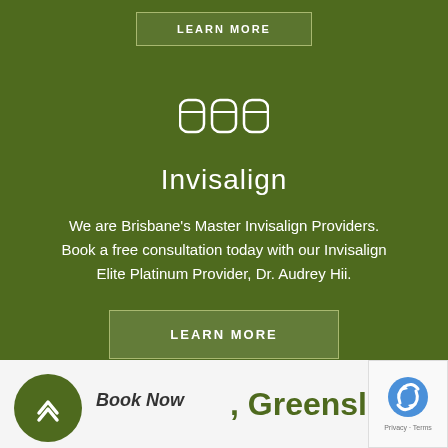[Figure (other): Partial 'LEARN MORE' button at very top of page, cropped]
[Figure (logo): Three tooth/Invisalign aligner icons in white on green background]
Invisalign
We are Brisbane's Master Invisalign Providers. Book a free consultation today with our Invisalign Elite Platinum Provider, Dr. Audrey Hii.
[Figure (other): LEARN MORE button in light box on green background]
[Figure (other): Green circular scroll-up arrow button]
Book Now
, Greenslop
[Figure (other): reCAPTCHA badge in bottom right corner with Privacy and Terms text]